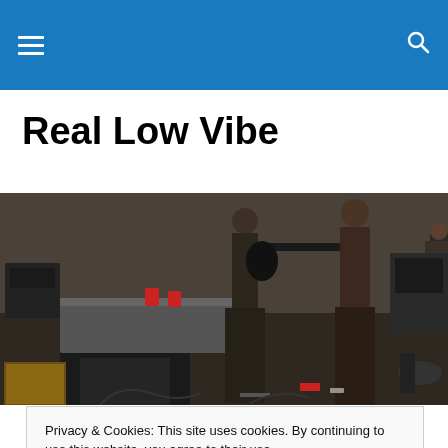Navigation bar with hamburger menu and search icon
Real Low Vibe
[Figure (photo): Musicians on a stage with guitars and equipment, red cups on a table, speakers and road cases visible]
Privacy & Cookies: This site uses cookies. By continuing to use this website, you agree to their use.
To find out more, including how to control cookies, see here: Cookie Policy
Close and accept
[Figure (photo): Partial bottom photo, partially visible]